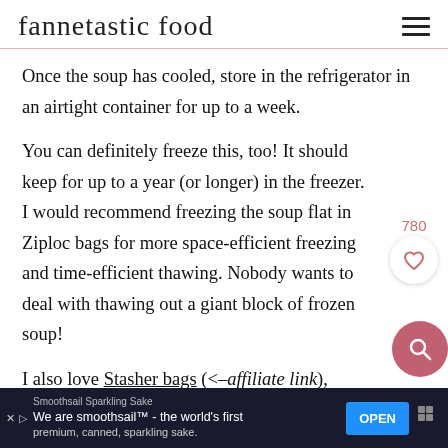fannetastic food
Once the soup has cooled, store in the refrigerator in an airtight container for up to a week.
You can definitely freeze this, too! It should keep for up to a year (or longer) in the freezer. I would recommend freezing the soup flat in Ziploc bags for more space-efficient freezing and time-efficient thawing. Nobody wants to deal with thawing out a giant block of frozen soup!
I also love Stasher bags (<–affiliate link), which seal well for liquids and are heat-safe. You could fr... p ...
[Figure (other): Advertisement bar at bottom: Smoothsail Sparkling Sake - 'We are smoothsail™ - the world's first premium, canned, sparkling sake.' with OPEN button]